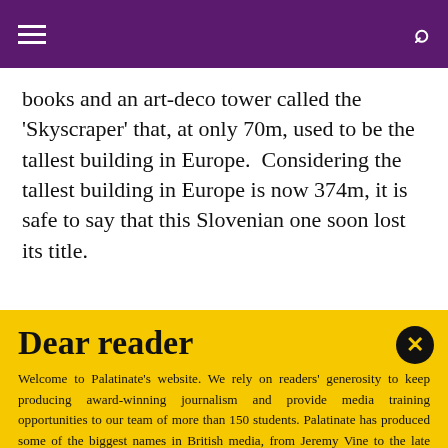Navigation header with hamburger menu and search icon
books and an art-deco tower called the 'Skyscraper' that, at only 70m, used to be the tallest building in Europe.  Considering the tallest building in Europe is now 374m, it is safe to say that this Slovenian one soon lost its title.
Dear reader
Welcome to Palatinate's website. We rely on readers' generosity to keep producing award-winning journalism and provide media training opportunities to our team of more than 150 students. Palatinate has produced some of the biggest names in British media, from Jeremy Vine to the late great Sir Harold Evans. Every contribution to Palatinate is an investment into the future of journalism.
Donate